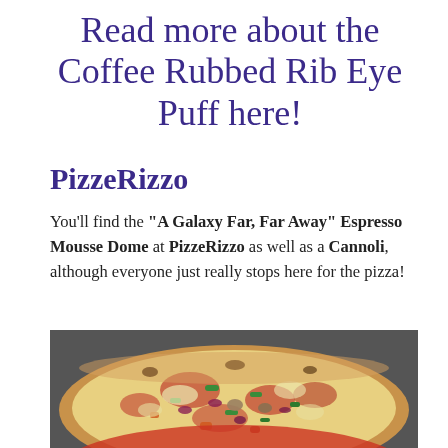Read more about the Coffee Rubbed Rib Eye Puff here!
PizzeRizzo
You'll find the "A Galaxy Far, Far Away" Espresso Mousse Dome at PizzeRizzo as well as a Cannoli, although everyone just really stops here for the pizza!
[Figure (photo): Close-up photo of a pizza topped with melted cheese, colorful vegetables including green peppers, red onions, tomatoes, and mushrooms on a red-rimmed plate.]